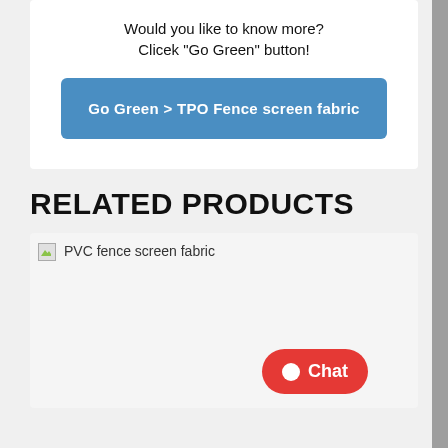Would you like to know more?
Clicek “Go Green” button!
[Figure (screenshot): Blue button labeled 'Go Green > TPO Fence screen fabric']
RELATED PRODUCTS
[Figure (photo): Product image placeholder for PVC fence screen fabric with broken image icon]
[Figure (screenshot): Red chat button with chat dot icon and text 'Chat']